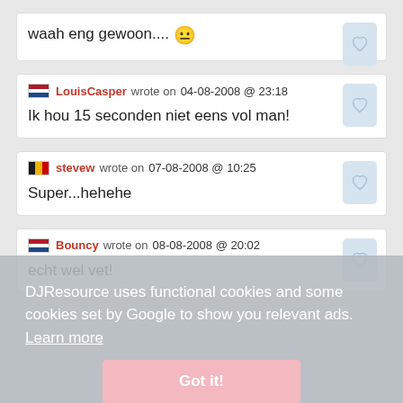waah eng gewoon.... 😐
LouisCasper wrote on 04-08-2008 @ 23:18
Ik hou 15 seconden niet eens vol man!
stevew wrote on 07-08-2008 @ 10:25
Super...hehehe
Bouncy wrote on 08-08-2008 @ 20:02
echt wel vet!
DJResource uses functional cookies and some cookies set by Google to show you relevant ads. Learn more
Got it!